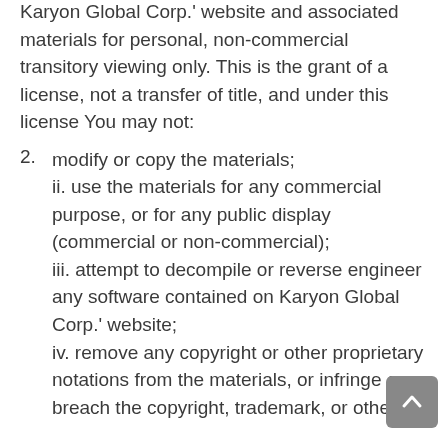Karyon Global Corp.' website and associated materials for personal, non-commercial transitory viewing only. This is the grant of a license, not a transfer of title, and under this license You may not:
2. modify or copy the materials;
ii. use the materials for any commercial purpose, or for any public display (commercial or non-commercial);
iii. attempt to decompile or reverse engineer any software contained on Karyon Global Corp.' website;
iv. remove any copyright or other proprietary notations from the materials, or infringe or breach the copyright, trademark, or other